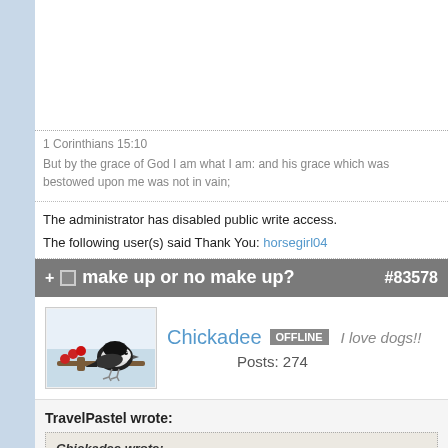1 Corinthians 15:10
But by the grace of God I am what I am: and his grace which was bestowed upon me was not in vain;
The administrator has disabled public write access.
The following user(s) said Thank You: horsegirl04
make up or no make up? #83578
Chickadee  OFFLINE  I love dogs!!  Posts: 274
TravelPastel wrote:
Chickadee wrote:
It's much better to take good care of your skin and make it flawless than to try to cover up blemishes with makeup.
Trust me. If you have clean skin, all you gotta do is